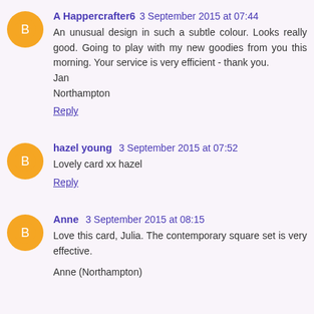A Happercrafter6  3 September 2015 at 07:44
An unusual design in such a subtle colour. Looks really good. Going to play with my new goodies from you this morning. Your service is very efficient - thank you.
Jan
Northampton
Reply
hazel young  3 September 2015 at 07:52
Lovely card xx hazel
Reply
Anne  3 September 2015 at 08:15
Love this card, Julia. The contemporary square set is very effective.
Anne (Northampton)